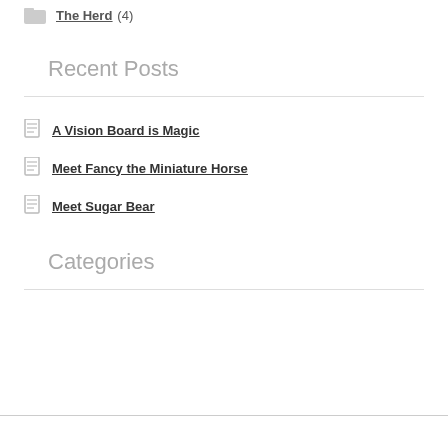The Herd (4)
Recent Posts
A Vision Board is Magic
Meet Fancy the Miniature Horse
Meet Sugar Bear
Categories